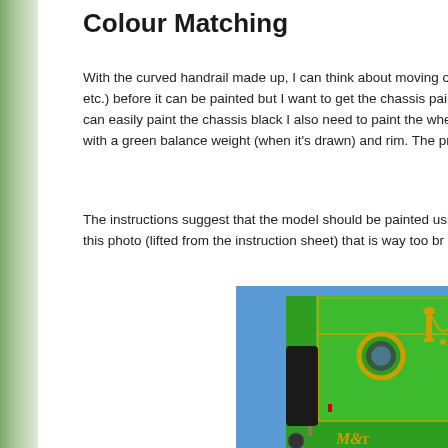Colour Matching
With the curved handrail made up, I can think about moving on etc.) before it can be painted but I want to get the chassis paint I can easily paint the chassis black I also need to paint the whe with a green balance weight (when it's drawn) and rim. The pro
The instructions suggest that the model should be painted usin at this photo (lifted from the instruction sheet) that is way too br
[Figure (photo): Close-up photo of a bright green model locomotive cab/body with brass fittings, a circular porthole window, and decorative brass lamps. The cab shows lettering that reads 'M&...' Text visible on the side of the green model.]